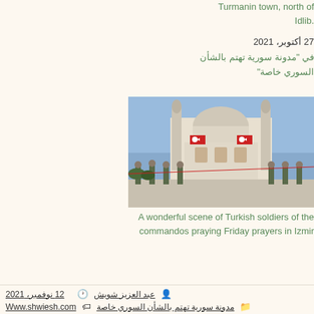Turmanin town, north of Idlib.
27 أكتوبر، 2021
في "مدونة سورية تهتم بالشأن السوري خاصة"
[Figure (photo): Turkish soldiers of commandos praying Friday prayers in front of a mosque decorated with Turkish flags in Izmir]
A wonderful scene of Turkish soldiers of the commandos praying Friday prayers in Izmir
19 نوفمبر، 2021
في "مدونة سورية تهتم بالشأن السوري خاصة"
عبد العزيز شويش   🕐 12 نوفمبر، 2021   مدونة سورية تهتم بالشأن السوري خاصة   Www.shwiesh.com